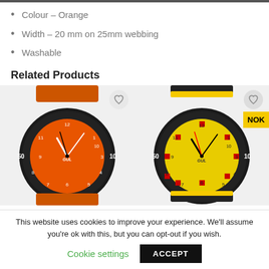Colour – Orange
Width – 20 mm on 25mm webbing
Washable
Related Products
[Figure (photo): Two Gul brand sport watches side by side. Left watch has orange face and orange rubber strap. Right watch has yellow face with red square markers and black/yellow strap. Both have black bezels with dive markings. A 'NOK' badge appears on the right watch.]
This website uses cookies to improve your experience. We'll assume you're ok with this, but you can opt-out if you wish.
Cookie settings   ACCEPT